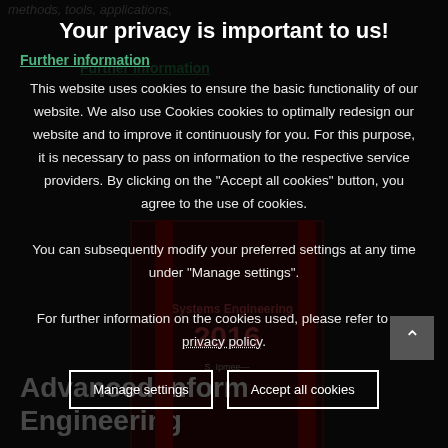methods, tools, applications,
Your privacy is important to us!
Further information
This website uses cookies to ensure the basic functionality of our website. We also use Cookies cookies to optimally redesign our website and to improve it continuously for you. For this purpose, it is necessary to pass on information to the respective service providers. By clicking on the "Accept all cookies" button, you agree to the use of cookies.

You can subsequently modify your preferred settings at any time under "Manage settings".

For further information on the cookies used, please refer to our privacy policy.
[Figure (illustration): Book cover showing 'Systems Engineering 2016' text on dark red background with red spine bars]
Advanced Inform Engineering